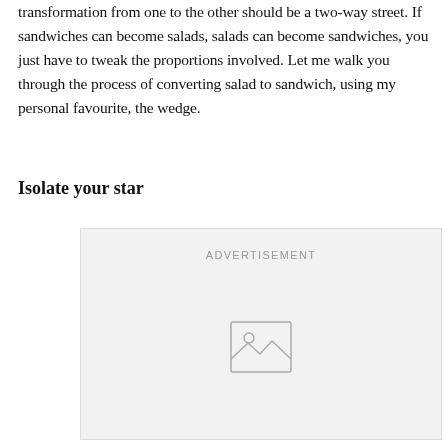transformation from one to the other should be a two-way street. If sandwiches can become salads, salads can become sandwiches, you just have to tweak the proportions involved. Let me walk you through the process of converting salad to sandwich, using my personal favourite, the wedge.
Isolate your star
[Figure (other): Advertisement placeholder box with image icon and 'ADVERTISEMENT' label]